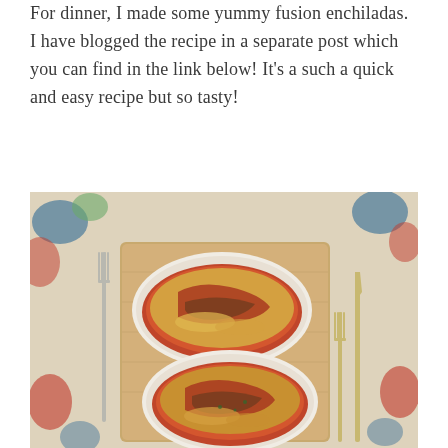For dinner, I made some yummy fusion enchiladas. I have blogged the recipe in a separate post which you can find in the link below! It's a such a quick and easy recipe but so tasty!
[Figure (photo): Overhead photo of two oval white baking dishes filled with baked fusion enchiladas covered in melted cheese and tomato sauce, placed on a wooden board with a decorative floral patterned cloth/tablecloth in blue, red and green, with forks and knives on either side.]